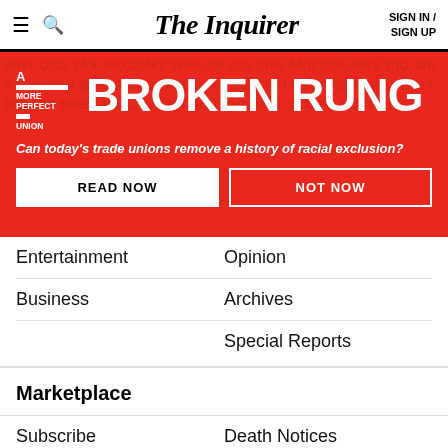The Inquirer | SIGN IN / SIGN UP
[Figure (infographic): A More Perfect Union: BROKEN RUNG promotional banner with red background. Subtitle: Can today's trade unions remove a history of racial exclusion? Two buttons: READ NOW and NOT NOW.]
Entertainment
Opinion
Business
Archives
Special Reports
Marketplace
Subscribe
Death Notices